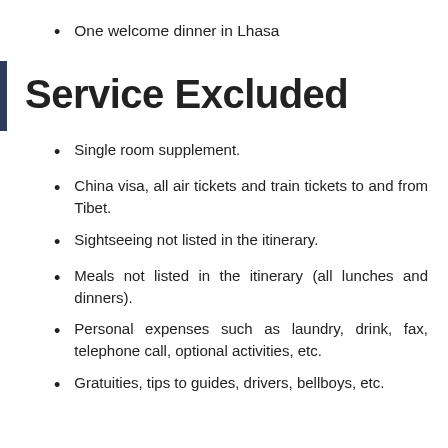One welcome dinner in Lhasa
Service Excluded
Single room supplement.
China visa, all air tickets and train tickets to and from Tibet.
Sightseeing not listed in the itinerary.
Meals not listed in the itinerary (all lunches and dinners).
Personal expenses such as laundry, drink, fax, telephone call, optional activities, etc.
Gratuities, tips to guides, drivers, bellboys, etc.